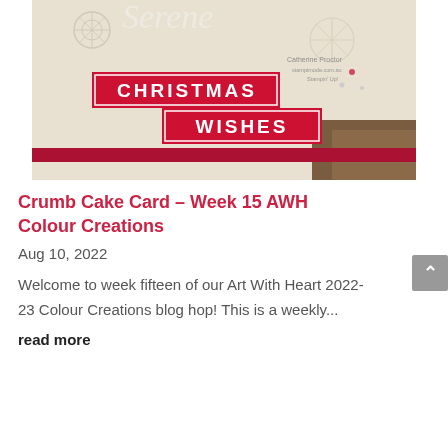[Figure (photo): Close-up photo of a handmade Christmas card with embossed snowflake background in cream/beige, featuring two red rectangular banners with white text reading 'CHRISTMAS' and 'WISHES', decorative script text above, and a watermark 'Catherine Proctor' in the corner.]
Crumb Cake Card – Week 15 AWH Colour Creations
Aug 10, 2022
Welcome to week fifteen of our Art With Heart 2022-23 Colour Creations blog hop! This is a weekly...
read more